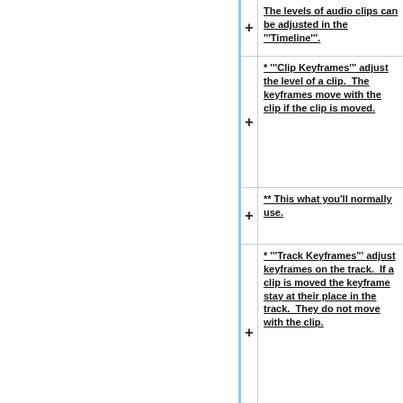The levels of audio clips can be adjusted in the '''Timeline'''.
* '''Clip Keyframes''' adjust the level of a clip.  The keyframes move with the clip if the clip is moved.
** This what you'll normally use.
* '''Track Keyframes''' adjust keyframes on the track.  If a clip is moved the keyframe stay at their place in the track.  They do not move with the clip.
====Creating Keyframes====
# Click the "Wrench"